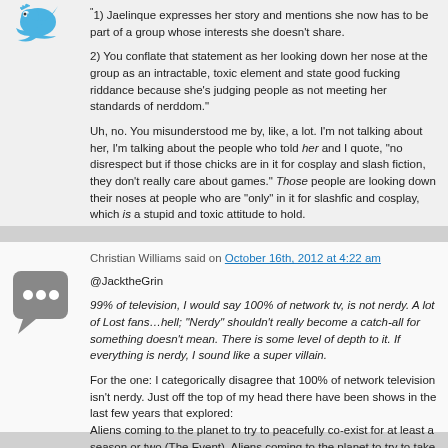"1) Jaelinque expresses her story and mentions she now has to be part of a group whose interests she doesn't share.

2) You conflate that statement as her looking down her nose at the group as an intractable, toxic element and state good fucking riddance because she's judging people as not meeting her standards of nerddom."

Uh, no. You misunderstood me by, like, a lot. I'm not talking about her, I'm talking about the people who told her and I quote, "no disrespect but if those chicks are in it for cosplay and slash fiction, they don't really care about games." Those people are looking down their noses at people who are "only" in it for slashfic and cosplay, which is a stupid and toxic attitude to hold.
Christian Williams said on October 16th, 2012 at 4:22 am

@JacktheGrin

99% of television, I would say 100% of network tv, is not nerdy. A lot of Lost fans…hell; "Nerdy" shouldn't really become a catch-all for something doesn't mean. There is some level of depth to it. If everything is nerdy, I sound like a super villain.

For the one: I categorically disagree that 100% of network television isn't nerdy. Just off the top of my head there have been shows in the last few years that explored:
Aliens coming to the planet to try to peacefully co-exist for at least a season or two (The Event), Aliens coming to the planet to try to take things over, A long treatise on Life, Death, and the Afterlife (Lost), A Super Hero Family (No Ordinary Family), A world without electricity (Revolution), and a show that...